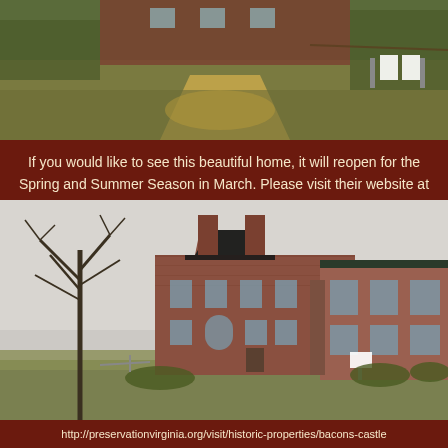[Figure (photo): Aerial/ground level view of a historic property showing yellowed grass lawn with a dirt/gravel path leading to a brick building, with white signage markers visible on the right side]
If you would like to see this beautiful home, it will reopen for the Spring and Summer Season in March. Please visit their website at
[Figure (photo): Exterior photograph of a large historic brick colonial mansion (Bacon's Castle or similar Virginia historic property) with multiple chimneys, gabled dormers, and a bare winter tree on the left, taken on an overcast day]
http://preservationvirginia.org/visit/historic-properties/bacons-castle